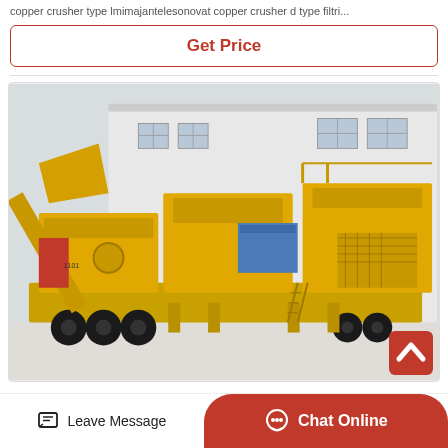copper crusher type lmimajantelesonovat copper crusher d type filtri...
Get Price
[Figure (photo): Large yellow mobile crushing plant/equipment on wheels parked in front of a white industrial building. The machine is a multi-stage mobile crusher with conveyors, hoppers, and processing units mounted on a heavy trailer with multiple axles.]
Leave Message
Chat Online